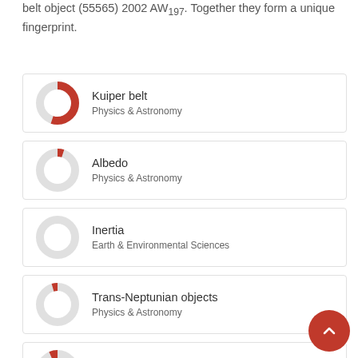belt object (55565) 2002 AW197. Together they form a unique fingerprint.
[Figure (donut-chart): Kuiper belt donut chart, large red fill (~80%)]
[Figure (donut-chart): Albedo donut chart, medium red fill (~30%)]
[Figure (donut-chart): Inertia donut chart, small-medium red fill (~25%)]
[Figure (donut-chart): Trans-Neptunian objects donut chart, small red fill (~20%)]
[Figure (donut-chart): Space Infrared Telescope Facility donut chart, small red fill (~18%)]
[Figure (donut-chart): Photometer donut chart, small red fill (~18%)]